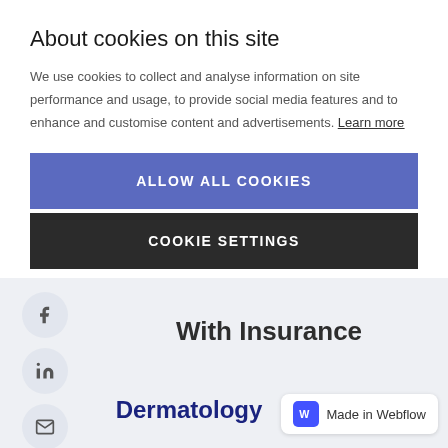About cookies on this site
We use cookies to collect and analyse information on site performance and usage, to provide social media features and to enhance and customise content and advertisements. Learn more
ALLOW ALL COOKIES
COOKIE SETTINGS
[Figure (illustration): Social media icons: Facebook (f), LinkedIn (in), Email (envelope) in circular grey buttons on light grey background]
With Insurance
Dermatology
Made in Webflow